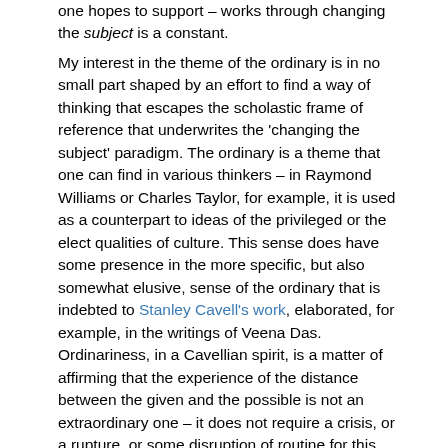one hopes to support – works through changing the subject is a constant.
My interest in the theme of the ordinary is in no small part shaped by an effort to find a way of thinking that escapes the scholastic frame of reference that underwrites the 'changing the subject' paradigm. The ordinary is a theme that one can find in various thinkers – in Raymond Williams or Charles Taylor, for example, it is used as a counterpart to ideas of the privileged or the elect qualities of culture. This sense does have some presence in the more specific, but also somewhat elusive, sense of the ordinary that is indebted to Stanley Cavell's work, elaborated, for example, in the writings of Veena Das. Ordinariness, in a Cavellian spirit, is a matter of affirming that the experience of the distance between the given and the possible is not an extraordinary one – it does not require a crisis, or a rupture, or some disruption of routine for this distance to be felt or apprehended. One reason that this affirmation is important, in relation to theories of subjectivity and subjectification,